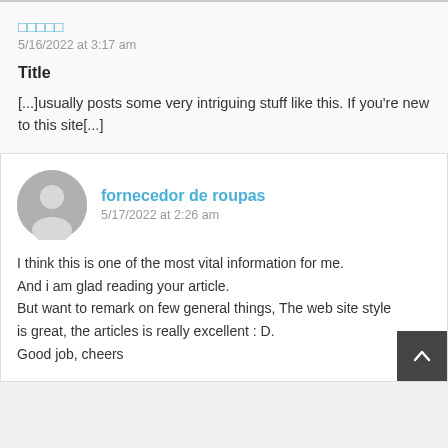□□□□□
5/16/2022 at 3:17 am
Title
[...]usually posts some very intriguing stuff like this. If you're new to this site[...]
fornecedor de roupas
5/17/2022 at 2:26 am
I think this is one of the most vital information for me. And i am glad reading your article. But want to remark on few general things, The web site style is great, the articles is really excellent : D. Good job, cheers